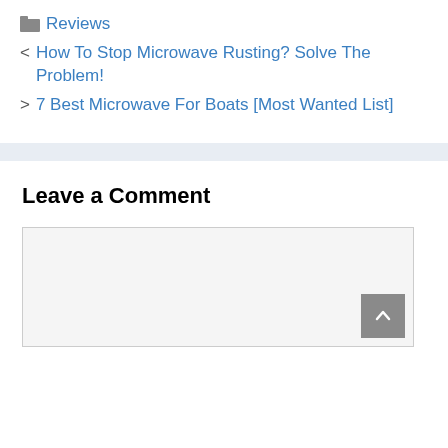Reviews
< How To Stop Microwave Rusting? Solve The Problem!
> 7 Best Microwave For Boats [Most Wanted List]
Leave a Comment